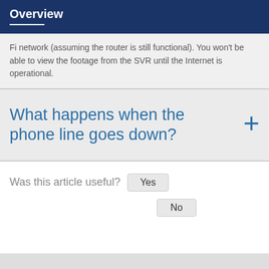Overview
Fi network (assuming the router is still functional). You won't be able to view the footage from the SVR until the Internet is operational.
What happens when the phone line goes down?
Was this article useful?  Yes  No